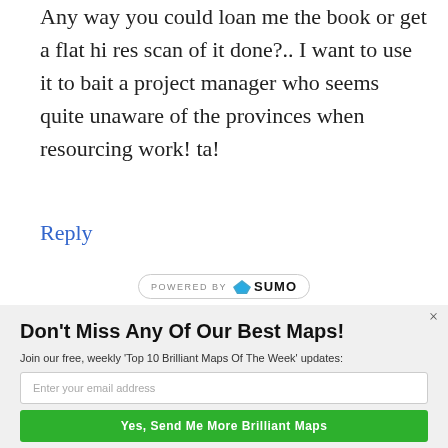Any way you could loan me the book or get a flat hi res scan of it done?.. I want to use it to bait a project manager who seems quite unaware of the provinces when resourcing work! ta!
Reply
[Figure (logo): POWERED BY SUMO logo badge]
Don't Miss Any Of Our Best Maps!
Join our free, weekly 'Top 10 Brilliant Maps Of The Week' updates:
Enter your email address
Yes, Send Me More Brilliant Maps